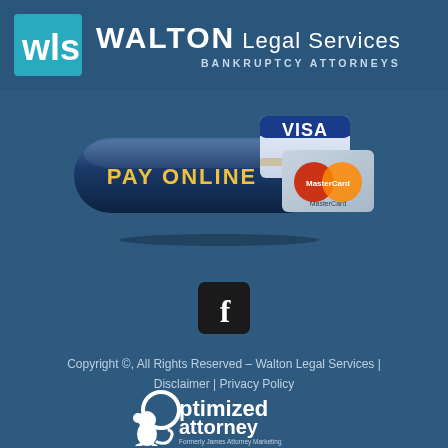[Figure (logo): WLS logo (white letters on cyan/teal square background) and Walton Legal Services Bankruptcy Attorneys firm name in white text on dark blue background]
[Figure (illustration): Pay Online button (dark blue pill/rounded rectangle with gold text PAY ONLINE) with Visa and MasterCard credit card graphics on top right]
[Figure (logo): Facebook icon: dark rounded square with white lowercase f letter]
Copyright ©, All Rights Reserved – Walton Legal Services | Disclaimer | Privacy Policy
[Figure (logo): Optimized Attorney logo: white monkey silhouette with circular element forming the letter O, text 'ptimized attorney' in white, and smaller text 'Formerly James Attorney Marketing']